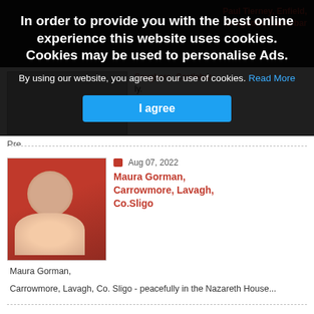In order to provide you with the best online experience this website uses cookies. Cookies may be used to personalise Ads.
By using our website, you agree to our use of cookies. Read More
I agree
Pre...
Aug 07, 2022
Maura Gorman, Carrowmore, Lavagh, Co.Sligo
Maura Gorman,
Carrowmore, Lavagh, Co. Sligo - peacefully in the Nazareth House...
[Figure (photo): Portrait photo of Maura Gorman, elderly woman in red jacket]
Aug 06, 2022
[Figure (photo): Partial photo at bottom of page]